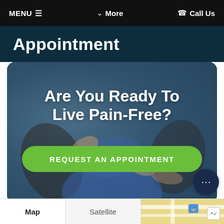MENU ≡    ∨ More    ☎ Call Us
Appointment
[Figure (photo): Medical professional performing shoulder/arm treatment on a patient wearing a blue shirt, with hands adjusting the patient's arm. Background shows a clinical setting. Text overlay reads 'Are You Ready To Live Pain-Free?' with a green 'REQUEST AN APPOINTMENT' button.]
[Figure (map): Google Maps partial screenshot showing Map and Satellite tabs at bottom, with a street map view and a bus stop icon visible.]